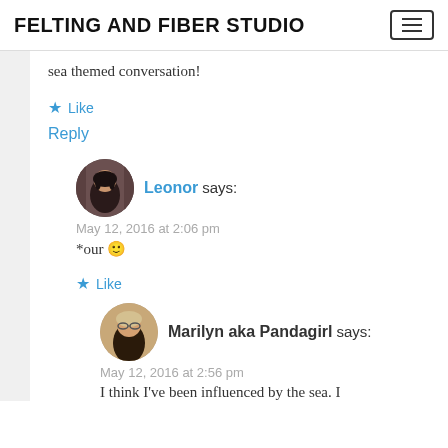FELTING AND FIBER STUDIO
sea themed conversation!
Like
Reply
Leonor says:
May 12, 2016 at 2:06 pm
*our 🙂
Like
Marilyn aka Pandagirl says:
May 12, 2016 at 2:56 pm
I think I've been influenced by the sea. I